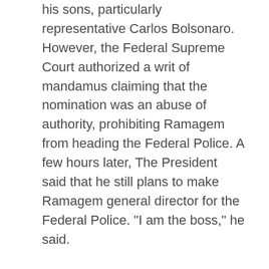his sons, particularly representative Carlos Bolsonaro. However, the Federal Supreme Court authorized a writ of mandamus claiming that the nomination was an abuse of authority, prohibiting Ramagem from heading the Federal Police. A few hours later, The President said that he still plans to make Ramagem general director for the Federal Police. “I am the boss,” he said.
Folha de S.Paulo: Novo ministro da Justiça dialoga com STF
O Globo: Mendonça diz que fará “trabalho técnico” no ministério